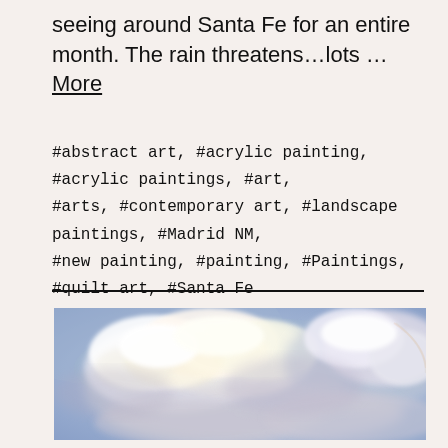seeing around Santa Fe for an entire month. The rain threatens…lots … More
#abstract art, #acrylic painting, #acrylic paintings, #art, #arts, #contemporary art, #landscape paintings, #Madrid NM, #new painting, #painting, #Paintings, #quilt art, #Santa Fe
[Figure (illustration): A painting of soft, billowy clouds in a blue sky with warm white and pale yellow tones in the clouds.]